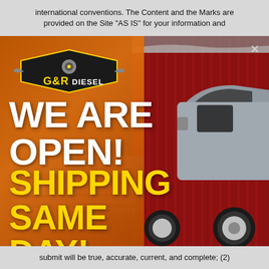international conventions. The Content and the Marks are provided on the Site "AS IS" for your information and
[Figure (photo): G&R Diesel promotional popup/modal showing a silver diesel pickup truck against a red corrugated metal building background. Left side has an orange overlay panel with the G&R Diesel logo, 'WE ARE OPEN!' in large white text, and 'SHIPPING SAME DAY!' in large yellow text. A close X button appears top right.]
submit will be true, accurate, current, and complete; (2)